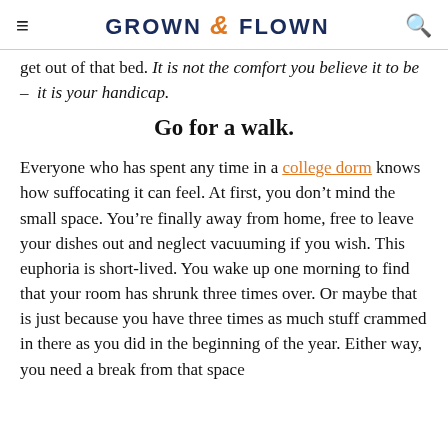GROWN & FLOWN
get out of that bed. It is not the comfort you believe it to be – it is your handicap.
Go for a walk.
Everyone who has spent any time in a college dorm knows how suffocating it can feel. At first, you don't mind the small space. You're finally away from home, free to leave your dishes out and neglect vacuuming if you wish. This euphoria is short-lived. You wake up one morning to find that your room has shrunk three times over. Or maybe that is just because you have three times as much stuff crammed in there as you did in the beginning of the year. Either way, you need a break from that space